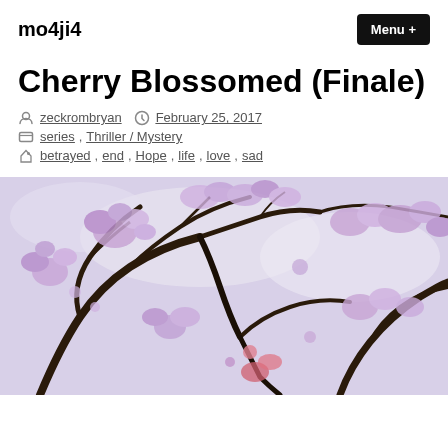mo4ji4  Menu +
Cherry Blossomed (Finale)
by zeckrombryan  February 25, 2017
series, Thriller / Mystery
betrayed, end, Hope, life, love, sad
[Figure (photo): Photo looking up at flowering trees with purple/pink blossoms and dark branches against a pale sky]